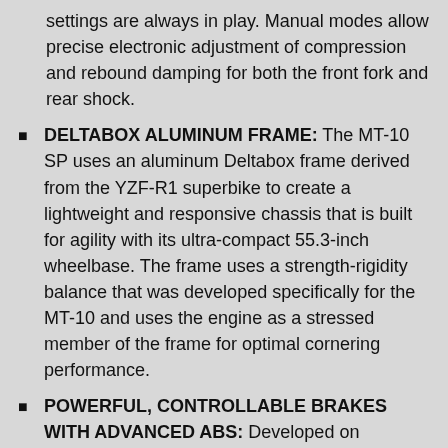settings are always in play. Manual modes allow precise electronic adjustment of compression and rebound damping for both the front fork and rear shock.
DELTABOX ALUMINUM FRAME: The MT-10 SP uses an aluminum Deltabox frame derived from the YZF-R1 superbike to create a lightweight and responsive chassis that is built for agility with its ultra-compact 55.3-inch wheelbase. The frame uses a strength-rigidity balance that was developed specifically for the MT-10 and uses the engine as a stressed member of the frame for optimal cornering performance.
POWERFUL, CONTROLLABLE BRAKES WITH ADVANCED ABS: Developed on racetracks around the world, Yamaha's advanced Brake Control (BC) System works with an Anti-lock Braking System (ABS) to minimize brake slip under aggressive braking or on less than ideal surfaces. Mated to